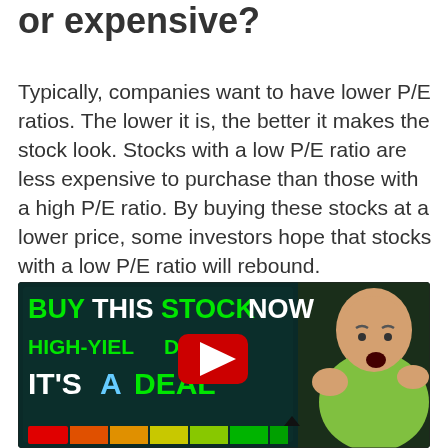or expensive?
Typically, companies want to have lower P/E ratios. The lower it is, the better it makes the stock look. Stocks with a low P/E ratio are less expensive to purchase than those with a high P/E ratio. By buying these stocks at a lower price, some investors hope that stocks with a low P/E ratio will rebound.
[Figure (screenshot): YouTube video thumbnail with dark background showing text 'BUY THIS STOCK NOW', 'HIGH-YIELD ...8%', 'IT'S A DEAL' with a bald man making a surprised face, a YouTube play button in center, and a color gauge bar at the bottom ranging from red to green.]